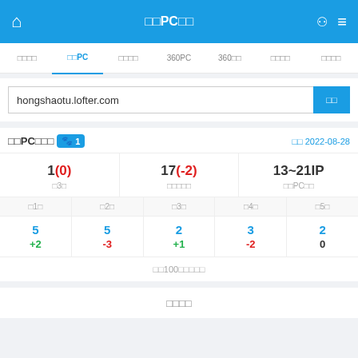□□PC□□
□□□□  □□PC  □□□□  360PC  360□□  □□□□  □□□□
hongshaotu.lofter.com
□□PC□□□ 1
□□ 2022-08-28
|  |  |  |
| --- | --- | --- |
| 1(0) | 17(-2) | 13~21IP |
| □3□ | □□□□□ | □□PC□□ |
| □1□ | □2□ | □3□ | □4□ | □5□ |
| --- | --- | --- | --- | --- |
| 5
+2 | 5
-3 | 2
+1 | 3
-2 | 2
0 |
□□100□□□□□
□□□□